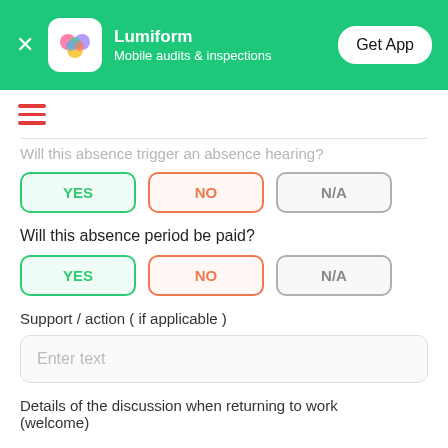[Figure (screenshot): Lumiform app banner with logo, tagline 'Mobile audits & inspections', and 'Get App' button on green background]
[Figure (other): Red hamburger menu icon (three horizontal lines)]
Will this absence trigger an absence hearing?
YES  NO  N/A
Will this absence period be paid?
YES  NO  N/A
Support / action ( if applicable )
Enter text
Details of the discussion when returning to work (welcome)